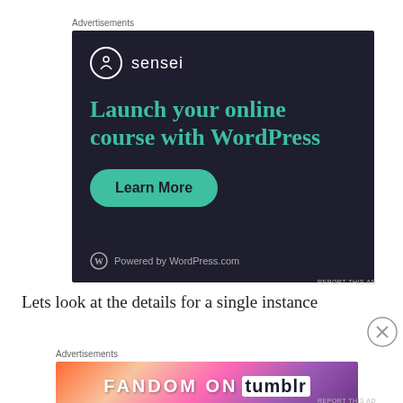Advertisements
[Figure (illustration): Sensei advertisement on dark background: logo with circle icon and 'sensei' text, headline 'Launch your online course with WordPress', green 'Learn More' button, and 'Powered by WordPress.com' footer text.]
REPORT THIS AD
Lets look at the details for a single instance
Advertisements
[Figure (illustration): Fandom on Tumblr advertisement: colorful gradient background with 'FANDOM ON tumblr' text in white and dark letters.]
REPORT THIS AD